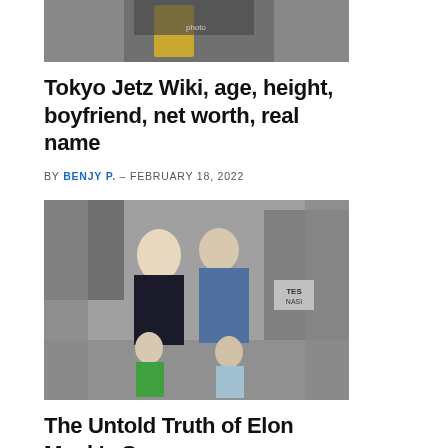[Figure (photo): Partial photo of a person wearing a yellow garment with black jacket, cropped at top]
Tokyo Jetz Wiki, age, height, boyfriend, net worth, real name
BY BENJY P. – FEBRUARY 18, 2022
[Figure (photo): Photo of a couple kissing on a city street with two young boys in front of them]
The Untold Truth of Elon Musk's Son